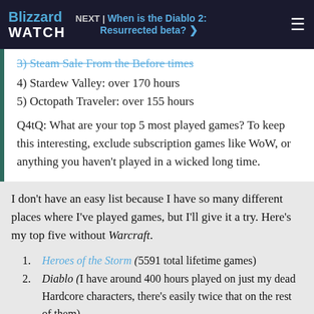NEXT | When is the Diablo 2: Resurrected beta?
4) Stardew Valley: over 170 hours
5) Octopath Traveler: over 155 hours
Q4tQ: What are your top 5 most played games? To keep this interesting, exclude subscription games like WoW, or anything you haven't played in a wicked long time.
I don't have an easy list because I have so many different places where I've played games, but I'll give it a try. Here's my top five without Warcraft.
Heroes of the Storm (5591 total lifetime games)
Diablo (I have around 400 hours played on just my dead Hardcore characters, there's easily twice that on the rest of them)
Borderlands (160 hours just in 3, easily that much